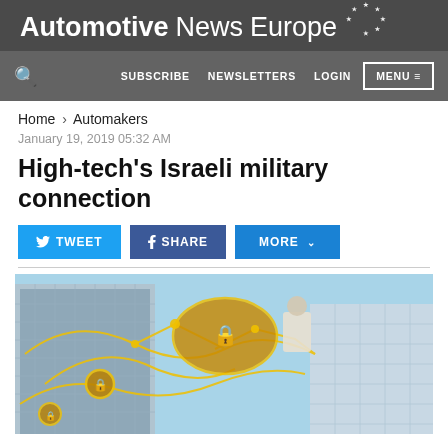Automotive News Europe
SUBSCRIBE  NEWSLETTERS  LOGIN  MENU
Home > Automakers
January 19, 2019 05:32 AM
High-tech's Israeli military connection
[Figure (screenshot): Social sharing buttons: TWEET, SHARE, MORE with dropdown arrow]
[Figure (photo): Cybersecurity concept image: city buildings with yellow glowing network connection lines and lock icons, a person working at a computer in center]